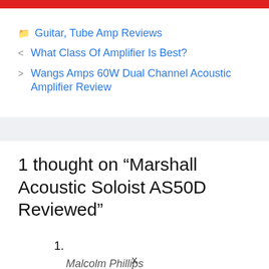Guitar, Tube Amp Reviews
< What Class Of Amplifier Is Best?
> Wangs Amps 60W Dual Channel Acoustic Amplifier Review
1 thought on “Marshall Acoustic Soloist AS50D Reviewed”
1.
Malcolm Phillips